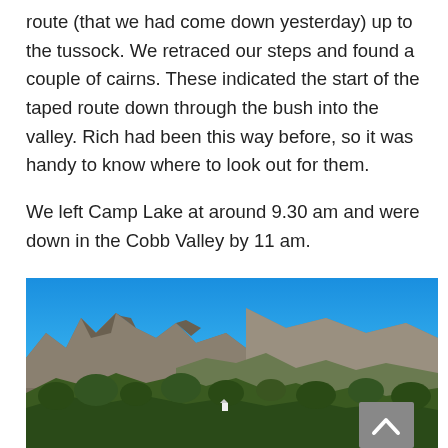route (that we had come down yesterday) up to the tussock. We retraced our steps and found a couple of cairns. These indicated the start of the taped route down through the bush into the valley. Rich had been this way before, so it was handy to know where to look out for them.

We left Camp Lake at around 9.30 am and were down in the Cobb Valley by 11 am.
[Figure (photo): Landscape photograph of rocky mountain peaks under a clear blue sky, with scrubby green vegetation and trees in the foreground, likely the Cobb Valley area in New Zealand.]